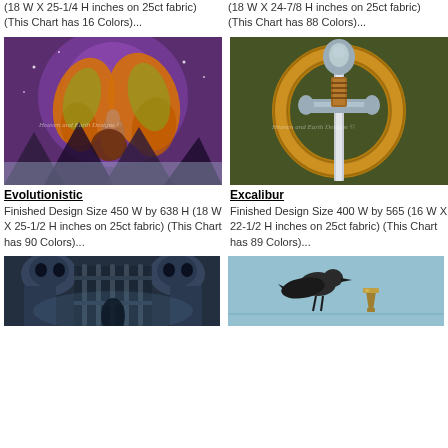(18 W X 25-1/4 H inches on 25ct fabric) (This Chart has 16 Colors)...
(18 W X 24-7/8 H inches on 25ct fabric) (This Chart has 88 Colors)...
[Figure (illustration): Fantasy fairy/mermaid figure with butterfly wings, purple background, Heaven and Earth Designs watermark]
[Figure (illustration): Excalibur sword with Celtic knotwork circular design, olive/green background, Heaven and Earth Designs watermark]
Evolutionistic
Finished Design Size 450 W by 638 H (18 W X 25-1/2 H inches on 25ct fabric) (This Chart has 90 Colors)...
Excalibur
Finished Design Size 400 W by 565 (16 W X 22-1/2 H inches on 25ct fabric) (This Chart has 89 Colors)...
[Figure (illustration): Dark gothic gate/skull design in blue tones]
[Figure (illustration): Bird with chalice/goblet on light blue background]